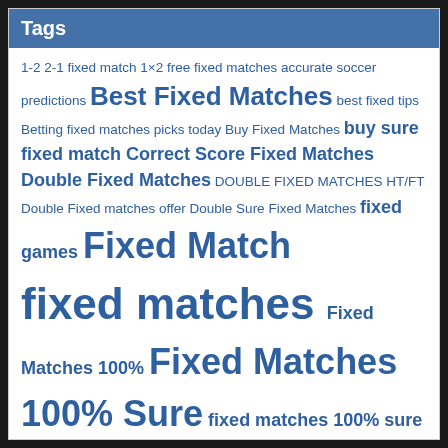Tags
1-2 2-1 fixed match 1×2 free fixed matches accurate soccer predictions Best Fixed Matches best fixed tips Betting fixed matches picks today Buy Fixed Matches buy sure fixed match Correct Score Fixed Matches Double Fixed Matches DOUBLE FIXED MATCHES HT/FT Double Fixed matches offer Double Sure Fixed Matches fixed games Fixed Match fixed matches Fixed Matches 100% Fixed Matches 100% Sure fixed matches 100% sure win fixed matches ht-ft fixing matches Free Fixed Matches Free Soccer Bet 1x2 Get Fixed Matches ht/ft fixed matches Legit Fixed Matches Match Prediction 100 Sure odds 30 sure match Paid Fixed Matches Real Fixed Matches Real Fixed Matches Big Odd Safe Fixed Matches Secure Fixed Matches Site that predict football matches correctly Soccer Fixed Matches Strong Fixed